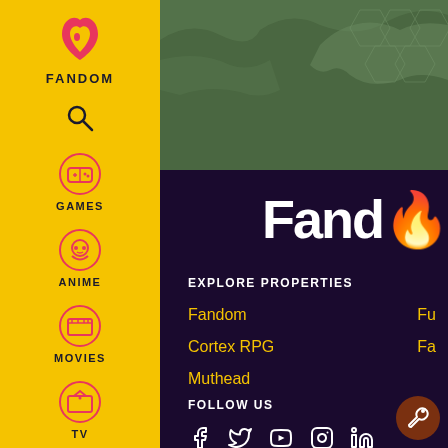[Figure (screenshot): Fandom website screenshot showing yellow sidebar navigation with Fandom logo, Games, Anime, Movies, TV, Video icons, and main dark purple content area with green map banner, Fandom logo text, Explore Properties links (Fandom, Cortex RPG, Muthead), and Follow Us social media icons (Facebook, Twitter, YouTube, Instagram, LinkedIn)]